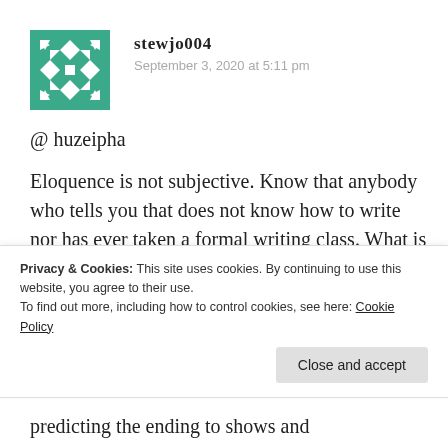[Figure (illustration): Teal/green geometric avatar icon with snowflake-like pattern]
stewjo004
September 3, 2020 at 5:11 pm
@ huzeipha
Eloquence is not subjective. Know that anybody who tells you that does not know how to write nor has ever taken a formal writing class. What is subjective in writing is how the piece made you feel. So, for example, there is no doubt Shakespeare is more eloquent then my
Privacy & Cookies: This site uses cookies. By continuing to use this website, you agree to their use.
To find out more, including how to control cookies, see here: Cookie Policy
Close and accept
predicting the ending to shows and